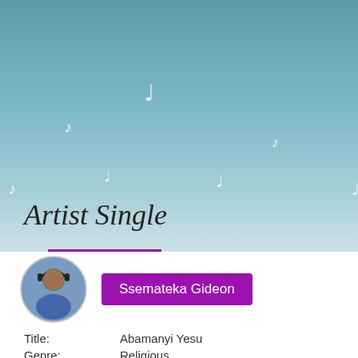[Figure (illustration): Teal/blue gradient background with scattered white musical notes]
ARTIST SINGLES
Artist Single
[Figure (photo): Circular profile photo of a person wearing headphones]
Ssemateka Gideon
Title: Abamanyi Yesu
Genre: Religious